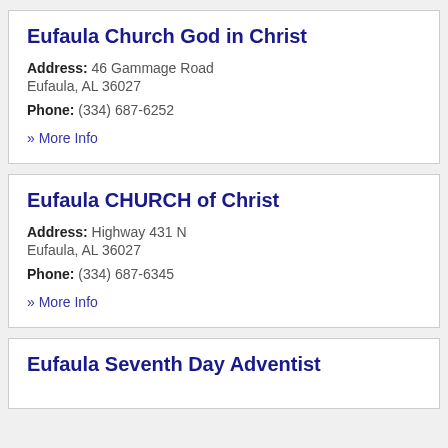Eufaula Church God in Christ
Address: 46 Gammage Road Eufaula, AL 36027
Phone: (334) 687-6252
» More Info
Eufaula CHURCH of Christ
Address: Highway 431 N Eufaula, AL 36027
Phone: (334) 687-6345
» More Info
Eufaula Seventh Day Adventist